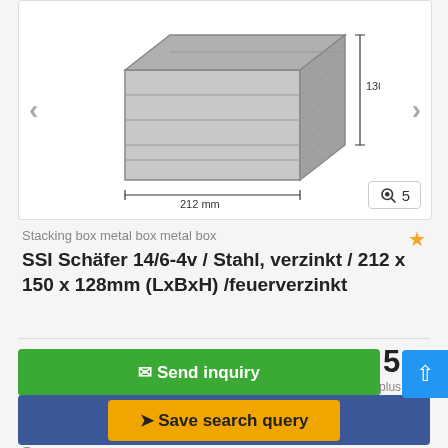[Figure (photo): Metal stacking box/crate shown with dimension annotations: 130 mm height and 212 mm length. Navigation arrows on left and right sides. Zoom icon with number 5 in bottom right corner.]
Stacking box metal box metal box
SSI Schäfer 14/6-4v / Stahl, verzinkt / 212 x 150 x 128mm (LxBxH) /feuerverzinkt
5 €
Fixed price plus VAT
✉ Send inquiry
➤ Save search query
Neukamperfahn